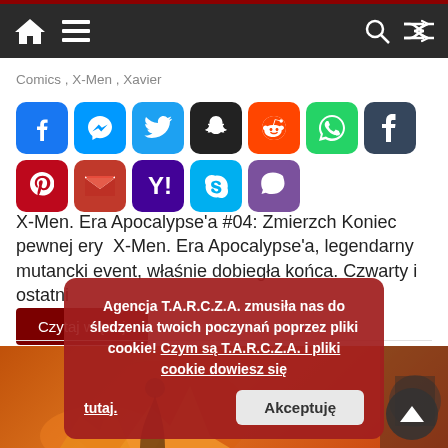Navigation bar with home, menu, search, and shuffle icons
Comics , X-Men , Xavier
[Figure (other): Row of social media sharing buttons: Facebook, Messenger, Twitter, Snapchat, Reddit, WhatsApp, Tumblr, Pinterest, Gmail, Yahoo, Skype, Viber]
X-Men. Era Apocalypse'a #04: Zmierzch Koniec pewnej ery  X-Men. Era Apocalypse'a, legendarny mutancki event, właśnie dobiegła końca. Czwarty i ostatni
Czytaj więcej
Agencja T.A.R.C.Z.A. zmusiła nas do śledzenia twoich poczynań poprzez pliki cookie! Czym są T.A.R.C.Z.A. i pliki cookie dowiesz się tutaj.
Akceptuję
[Figure (illustration): Bottom portion showing comic book art with orange/flame background]